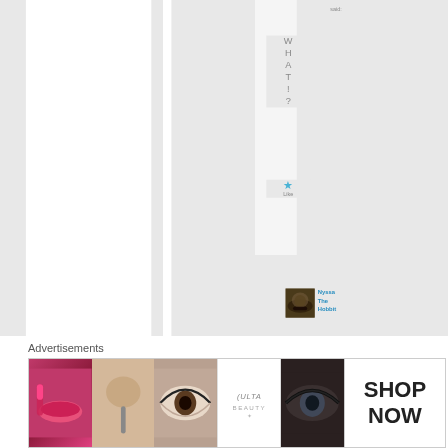said:
W
H
A
T
!
?
★
Like
[Figure (photo): Small avatar thumbnail showing The Hobbit movie scene - dark hobbit hole entrance]
Nyssa The Hobbit
on
Advertisements
[Figure (photo): Advertisements banner strip showing makeup/beauty ads: lips with lipstick, makeup brush, eye with mascara, ULTA Beauty logo, eye closeup, and SHOP NOW text]